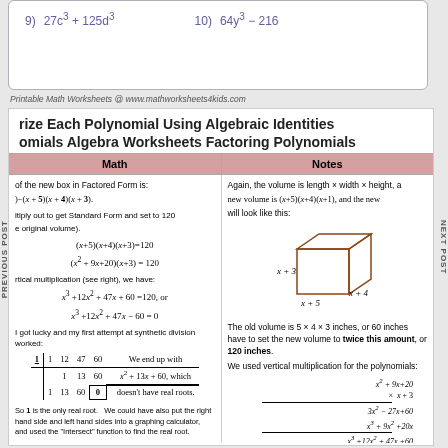Printable Math Worksheets @ www.mathworksheets4kids.com
rize Each Polynomial Using Algebraic Identities
omials Algebra Worksheets Factoring Polynomials
| Math | Notes |
| --- | --- |
| of the new box in Factored Form is: | Again, the volume is length × width × height, ... |
| )(x+5)(x+4)(x+3) | new volume is (x+5)(x+4)(x+3), and the new will look like this: |
| (x+5)(x+4)(x+3)=120 ... (x²+12x²+47x-60=0) | [cube diagram] |
| I got lucky and my first attempt at synthetic division worked: [synthetic division table] | The old volume is 5×4×3 inches, or 60 inches have to set the new volume to twice this amount, or 120 inches. |
| So 1 is the only real root... | So we would need to add 1 inch to double the volume of the box. |
So 1 is the only real root. We could have also put the right hand side and left hand sides into a graphing calculator, and used the "Intersect" function to find the real root.
So we would need to add 1 inch to double the volume of the box.